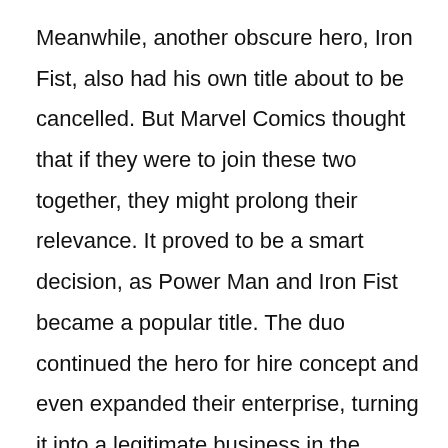Meanwhile, another obscure hero, Iron Fist, also had his own title about to be cancelled. But Marvel Comics thought that if they were to join these two together, they might prolong their relevance. It proved to be a smart decision, as Power Man and Iron Fist became a popular title. The duo continued the hero for hire concept and even expanded their enterprise, turning it into a legitimate business in the pages of the aptly titled Heroes for Hire.